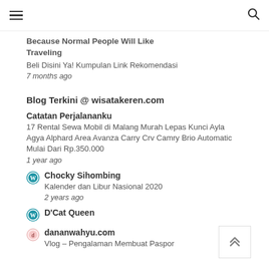☰  🔍
Because Normal People Will Like Traveling
Beli Disini Ya! Kumpulan Link Rekomendasi
7 months ago
Blog Terkini @ wisatakeren.com
Catatan Perjalananku
17 Rental Sewa Mobil di Malang Murah Lepas Kunci Ayla Agya Alphard Area Avanza Carry Crv Camry Brio Automatic Mulai Dari Rp.350.000
1 year ago
Chocky Sihombing
Kalender dan Libur Nasional 2020
2 years ago
D'Cat Queen
dananwahyu.com
Vlog – Pengalaman Membuat Paspor